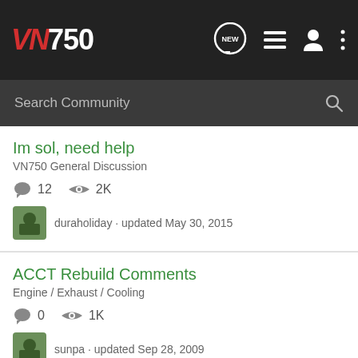VN750 community header with logo and navigation icons
Search Community
Im sol, need help
VN750 General Discussion
12 comments  2K views
duraholiday · updated May 30, 2015
ACCT Rebuild Comments
Engine / Exhaust / Cooling
0 comments  1K views
sunpa · updated Sep 28, 2009
Broken bolt at reed valve cover - can we review do's and don'ts for removing?